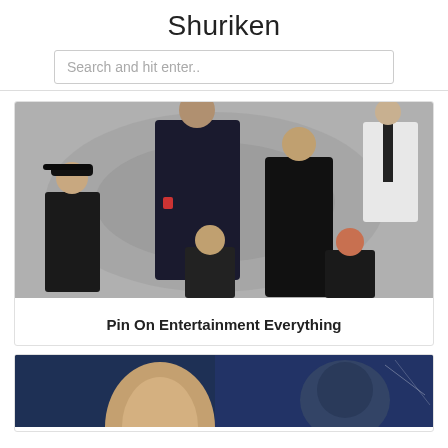Shuriken
Search and hit enter..
[Figure (photo): Group of people in black suits and formal wear on a grey spiral background - promotional image]
Pin On Entertainment Everything
[Figure (photo): Blue-toned close-up of a man's face with another figure in the background - partial view]